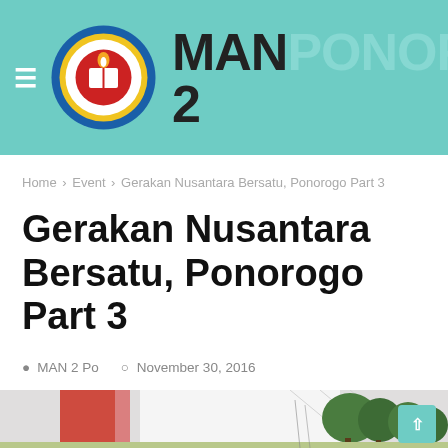MAN 2 PONOROGO
Home › Event › Gerakan Nusantara Bersatu, Ponorogo Part 3
Gerakan Nusantara Bersatu, Ponorogo Part 3
MAN 2 Po  November 30, 2016
[Figure (photo): Outdoor event photo showing flags on the left and trees/venue on the right]